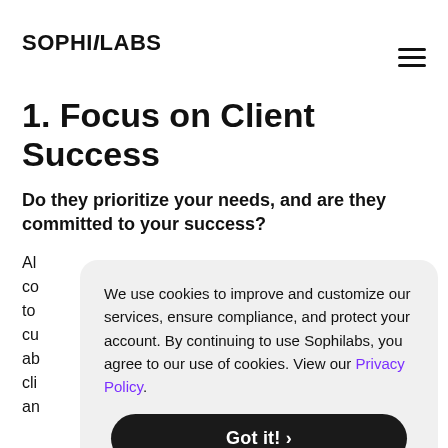when looking for a reliable and trustworthy
SOPHiLABS
1. Focus on Client Success
Do they prioritize your needs, and are they committed to your success?
Al... co... to... cu... ab... cli... an...
We use cookies to improve and customize our services, ensure compliance, and protect your account. By continuing to use Sophilabs, you agree to our use of cookies. View our Privacy Policy.
Got it! >